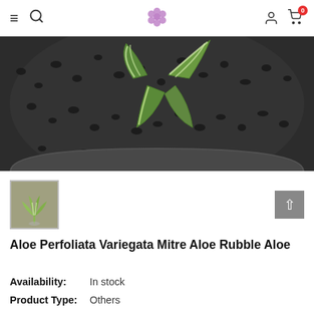Navigation bar with hamburger menu, search icon, flower logo, user icon, and cart (0)
[Figure (photo): Top-down view of an aloe plant with white-striped green leaves in a dark gray pot filled with black pebbles]
[Figure (photo): Thumbnail of aloe plant with white-striped leaves in a small pot on gray background]
Aloe Perfoliata Variegata Mitre Aloe Rubble Aloe
Availability: In stock
Product Type: Others